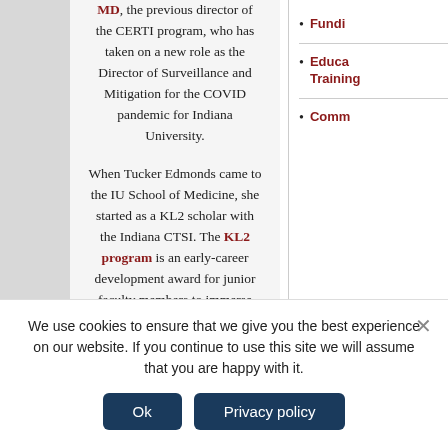MD, the previous director of the CERTI program, who has taken on a new role as the Director of Surveillance and Mitigation for the COVID pandemic for Indiana University.
When Tucker Edmonds came to the IU School of Medicine, she started as a KL2 scholar with the Indiana CTSI. The KL2 program is an early-career development award for junior faculty members to immerse them in a research-intensive setting with the added benefit of a mentor.
“The KL2 program was my
Fundi
Educa Training
Comm
We use cookies to ensure that we give you the best experience on our website. If you continue to use this site we will assume that you are happy with it.